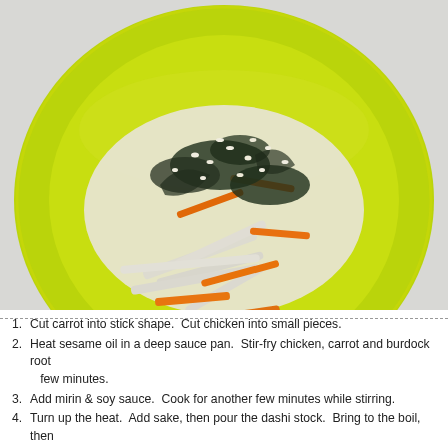[Figure (photo): A lime-green bowl filled with a stir-fried vegetable dish containing julienned carrots, burdock root, seaweed (wakame), onions, and sesame seeds, viewed from above on a light background.]
1. Cut carrot into stick shape.  Cut chicken into small pieces.
2. Heat sesame oil in a deep sauce pan.  Stir-fry chicken, carrot and burdock root few minutes.
3. Add mirin & soy sauce.  Cook for another few minutes while stirring.
4. Turn up the heat.  Add sake, then pour the dashi stock.  Bring to the boil, then simmer for 5 minutes. Taste the soup, and add more soy sauce/sake if needed.  Remember, the wakame will add more flavour to the soup later.
5. Add frozen udon noodle into the soup.  If you are using dried noodle, cook the noodle first then drain well before adding to the soup. Rinse for a few the 5...